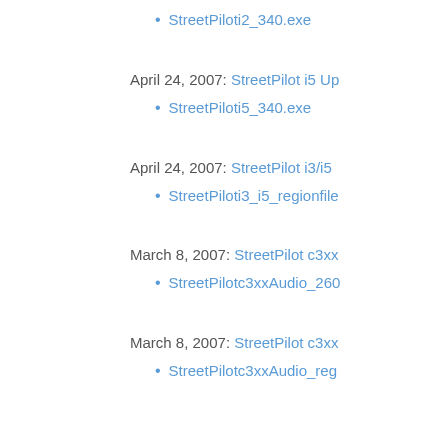StreetPiloti2_340.exe
April 24, 2007: StreetPilot i5 Up
StreetPiloti5_340.exe
April 24, 2007: StreetPilot i3/i5
StreetPiloti3_i5_regionfile
March 8, 2007: StreetPilot c3xx
StreetPilotc3xxAudio_260
March 8, 2007: StreetPilot c3xx
StreetPilotc3xxAudio_reg